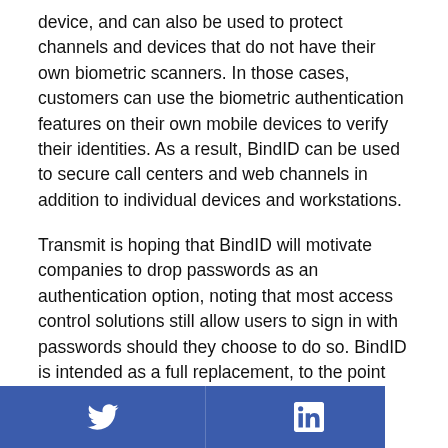device, and can also be used to protect channels and devices that do not have their own biometric scanners. In those cases, customers can use the biometric authentication features on their own mobile devices to verify their identities. As a result, BindID can be used to secure call centers and web channels in addition to individual devices and workstations.
Transmit is hoping that BindID will motivate companies to drop passwords as an authentication option, noting that most access control solutions still allow users to sign in with passwords should they choose to do so. BindID is intended as a full replacement, to the point that organizations would be able to delete all of the passwords in their database, and eliminate the security threat that they represent, once they decide to implement
Twitter | LinkedIn | Facebook